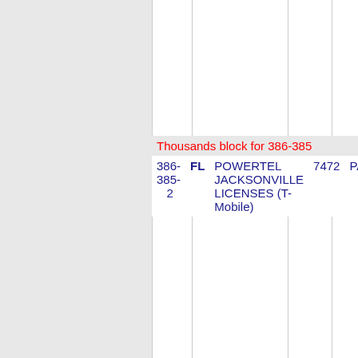Thousands block for 386-385
| Number | State | Company | Code | Location |
| --- | --- | --- | --- | --- |
| 386-385-2 | FL | POWERTEL JACKSONVILLE LICENSES (T-Mobile) | 7472 | PALA |